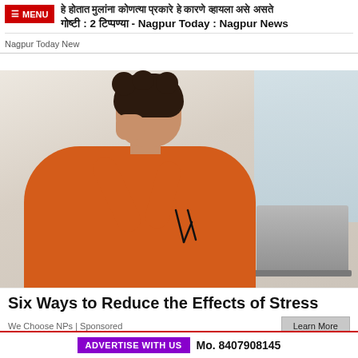☰ MENU | हे होतात मुलांना कोणत्या प्रकारे हे कारणे व्हायला असे असते 
गोष्टी : 2 टिप्पण्या - Nagpur Today : Nagpur News
Nagpur Today New
[Figure (photo): Woman in orange sweater rubbing her eyes with one hand and holding glasses in the other, seated at a desk with a laptop, appearing stressed.]
Six Ways to Reduce the Effects of Stress
We Choose NPs | Sponsored
ADVERTISE WITH US   Mo. 8407908145